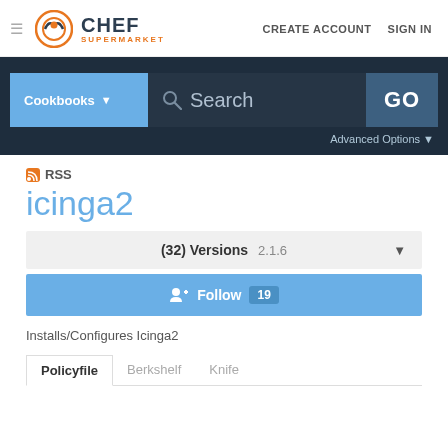Chef Supermarket — CREATE ACCOUNT  SIGN IN
[Figure (screenshot): Chef Supermarket search bar with Cookbooks dropdown, Search input, and GO button on dark navy background, with Advanced Options link]
RSS
icinga2
(32) Versions  2.1.6
Follow  19
Installs/Configures Icinga2
Policyfile  Berkshelf  Knife